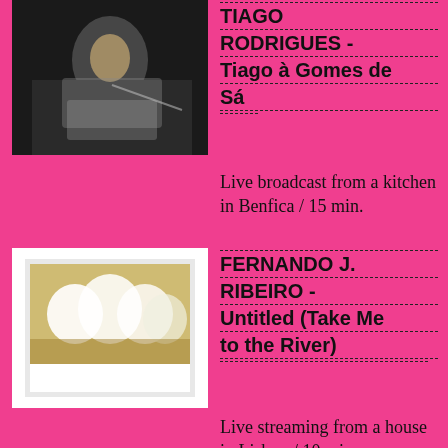[Figure (photo): Photo of a man in a grey shirt reaching out on a dark stage]
TIAGO RODRIGUES - Tiago à Gomes de Sá
Live broadcast from a kitchen in Benfica / 15 min.
[Figure (photo): Photo of white cattle/animals in a field, displayed as a polaroid-style print]
FERNANDO J. RIBEIRO - Untitled (Take Me to the River)
Live streaming from a house in Lisbon / 10 min.